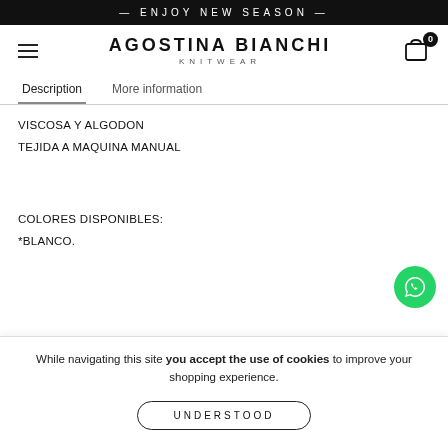— ENJOY NEW SEASON —
AGOSTINA BIANCHI KNITWEAR
Description | More information
VISCOSA Y ALGODON
TEJIDA A MAQUINA MANUAL
COLORES DISPONIBLES:
*BLANCO.
While navigating this site you accept the use of cookies to improve your shopping experience.
UNDERSTOOD